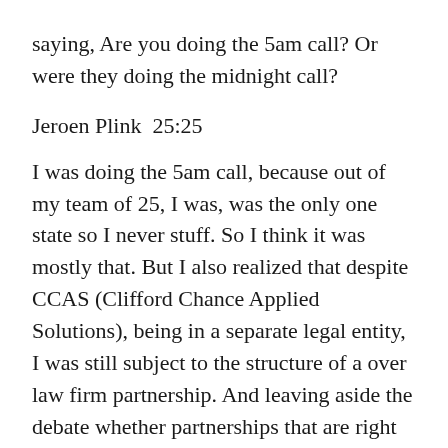saying, Are you doing the 5am call? Or were they doing the midnight call?
Jeroen Plink  25:25
I was doing the 5am call, because out of my team of 25, I was, was the only one state so I never stuff. So I think it was mostly that. But I also realized that despite CCAS (Clifford Chance Applied Solutions), being in a separate legal entity, I was still subject to the structure of a over law firm partnership. And leaving aside the debate whether partnerships that are right structure for a law firm are not. For me, it's not a structure where I thrive, I'm used to an organization that's bit more shaped like a pyramid. And I don't think law firms work like that. And typically, in the organizations that I'm involved with